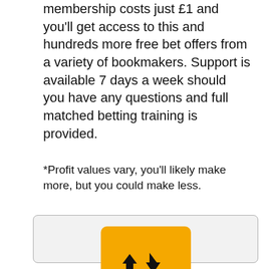membership costs just £1 and you'll get access to this and hundreds more free bet offers from a variety of bookmakers. Support is available 7 days a week should you have any questions and full matched betting training is provided.
*Profit values vary, you'll likely make more, but you could make less.
Top Offers
[Figure (logo): Betfair logo: yellow/orange rounded square with black up and down arrows above the word 'betfair' in black text]